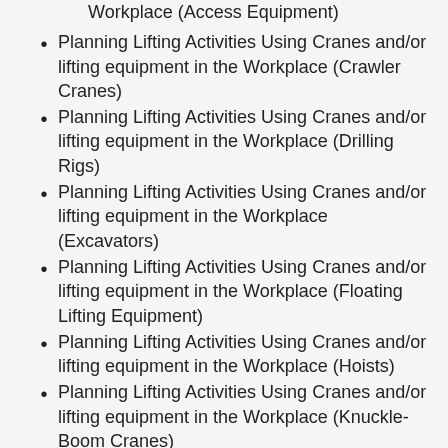Workplace (Access Equipment)
Planning Lifting Activities Using Cranes and/or lifting equipment in the Workplace (Crawler Cranes)
Planning Lifting Activities Using Cranes and/or lifting equipment in the Workplace (Drilling Rigs)
Planning Lifting Activities Using Cranes and/or lifting equipment in the Workplace (Excavators)
Planning Lifting Activities Using Cranes and/or lifting equipment in the Workplace (Floating Lifting Equipment)
Planning Lifting Activities Using Cranes and/or lifting equipment in the Workplace (Hoists)
Planning Lifting Activities Using Cranes and/or lifting equipment in the Workplace (Knuckle-Boom Cranes)
Planning Lifting Activities Using Cranes and/or lifting equipment in the Workplace (Lorry Loaders)
Planning Lifting Activities Using